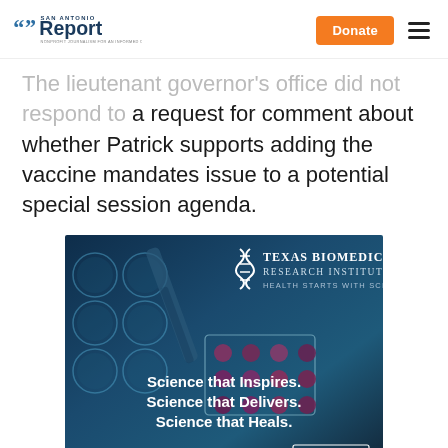San Antonio Report — Donate
The lieutenant governor's office did not respond to a request for comment about whether Patrick supports adding the vaccine mandates issue to a potential special session agenda.
[Figure (infographic): Texas Biomedical Research Institute advertisement. Dark blue background with lab equipment (pipette and well plates). Logo with DNA icon and text 'Texas Biomedical Research Institute — Health Starts With Science'. Taglines: 'Science that Inspires. Science that Delivers. Science that Heals.' with a 'Learn More' button.]